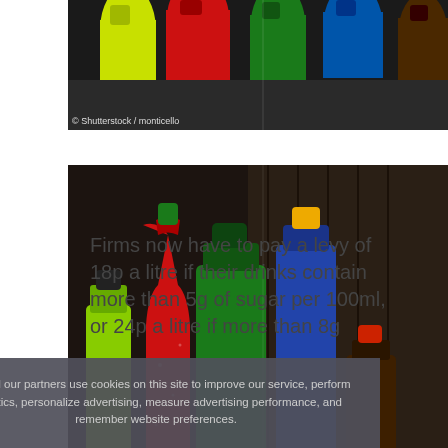[Figure (photo): Colorful bottles of soft drinks (yellow, red, green, blue) on a dark surface - top portion visible]
© Shutterstock / monticello
[Figure (photo): Colorful bottles of soft drinks arranged together - yellow-green, red, green, blue, and brown bottles against a wooden background]
© Shutterstock / monticello
Firms now have to pay a levy of 18p a litre if their drinks contain more than 5g of sugar per 100ml, or 24p a litre if more than 8g
We and our partners use cookies on this site to improve our service, perform analytics, personalize advertising, measure advertising performance, and remember website preferences.